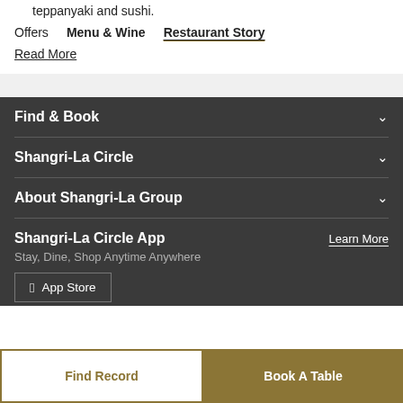teppanyaki and sushi.
Offers   Menu & Wine   Restaurant Story
Read More
Find & Book
Shangri-La Circle
About Shangri-La Group
Shangri-La Circle App
Stay, Dine, Shop Anytime Anywhere
App Store
Find Record
Book A Table